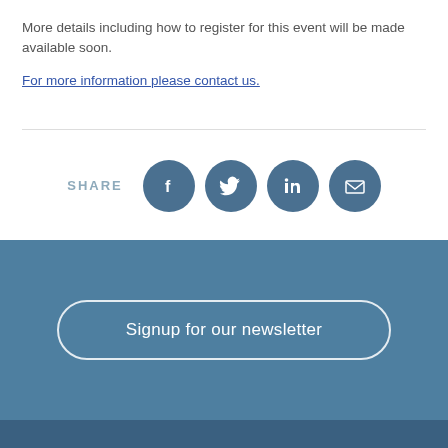More details including how to register for this event will be made available soon.
For more information please contact us.
[Figure (infographic): Share section with SHARE label and four social media icon buttons: Facebook, Twitter, LinkedIn, and Email, each in a dark teal circular button]
[Figure (infographic): Blue newsletter signup section with a pill-shaped outlined button reading 'Signup for our newsletter']